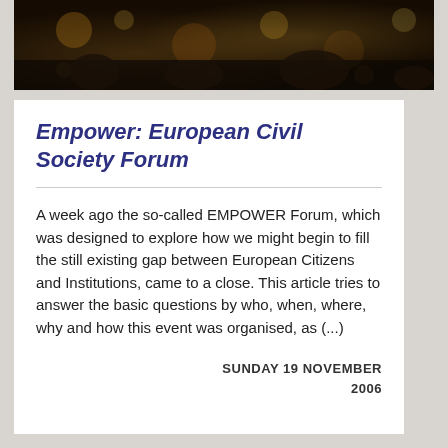[Figure (photo): Dark atmospheric photo banner showing a crowd or event scene with warm lighting effects at the top of the page]
Empower: European Civil Society Forum
A week ago the so-called EMPOWER Forum, which was designed to explore how we might begin to fill the still existing gap between European Citizens and Institutions, came to a close. This article tries to answer the basic questions by who, when, where, why and how this event was organised, as (...)
SUNDAY 19 NOVEMBER 2006